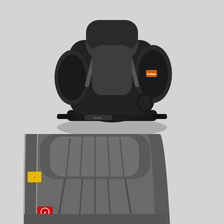[Figure (photo): Black BeSafe iZi Combi X4 ISOfix child car seat shown from the front/top angle, rear-facing position, with ISOFIX connectors and side wings visible.]
BeSafe iZi Combi X4 ISOfix
[Figure (photo): Grey/dark gray BeSafe child car seat shown from a front angle, displaying padded headrest and seat with safety label stickers on the side.]